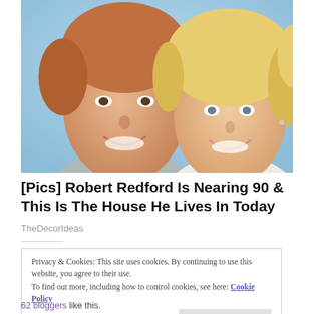[Figure (photo): Two people smiling closely together — an older man with reddish-gray hair on the left and a blonde woman on the right, against a light blue background.]
[Pics] Robert Redford Is Nearing 90 & This Is The House He Lives In Today
TheDecorIdeas
Privacy & Cookies: This site uses cookies. By continuing to use this website, you agree to their use.
To find out more, including how to control cookies, see here: Cookie Policy
Close and accept
62 bloggers like this.